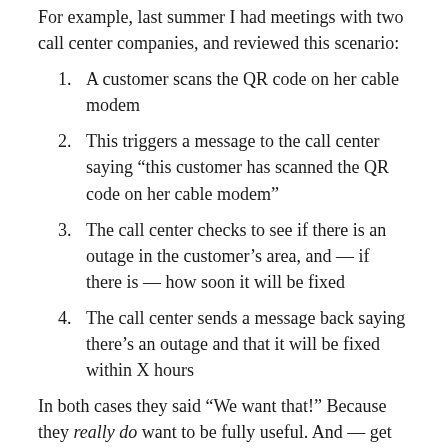For example, last summer I had meetings with two call center companies, and reviewed this scenario:
A customer scans the QR code on her cable modem
This triggers a message to the call center saying “this customer has scanned the QR code on her cable modem”
The call center checks to see if there is an outage in the customer’s area, and — if there is — how soon it will be fixed
The call center sends a message back saying there’s an outage and that it will be fixed within X hours
In both cases they said “We want that!” Because they really do want to be fully useful. And — get this — they are programmable. Unfortunately, in too many cases they are programmed to avoid customers, or to treat them as